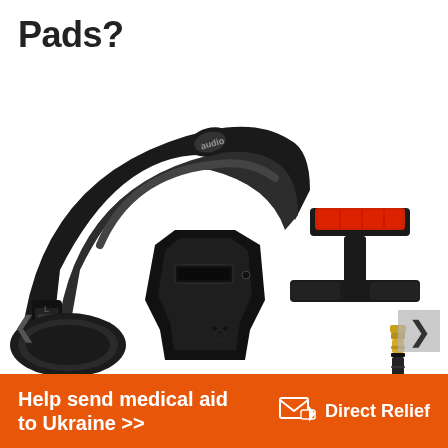Pads?
[Figure (photo): Close-up of a black Audio-Technica over-ear headphone headband and ear cup on the left side, with a black aluminum headphone wall mount hanger with red adhesive tape on top right, and a gold/black 3.5mm to 6.35mm audio jack adapter below the mount on the right side. Navigation arrows are visible on left and right edges.]
Help send medical aid to Ukraine >>
[Figure (logo): Direct Relief logo: white envelope icon with orange arrow, followed by 'Direct Relief' text in white]